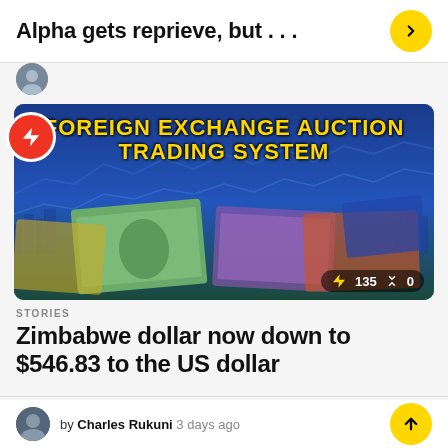Alpha gets reprieve, but . . .
[Figure (photo): Foreign Exchange Auction Trading System banner with international currency notes in background. A red lightning-bolt badge overlays the top-left corner. A counter overlay shows '135' and '0' in the bottom-right of the image.]
STORIES
Zimbabwe dollar now down to $546.83 to the US dollar
by Charles Rukuni 3 days ago